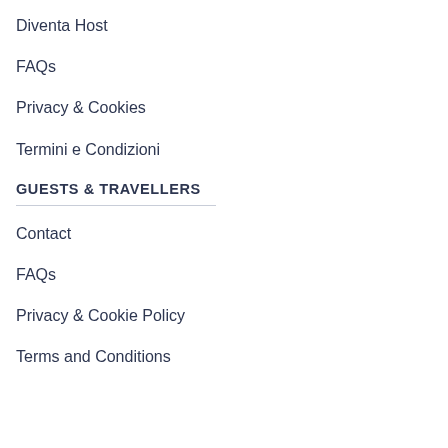Diventa Host
FAQs
Privacy & Cookies
Termini e Condizioni
GUESTS & TRAVELLERS
Contact
FAQs
Privacy & Cookie Policy
Terms and Conditions